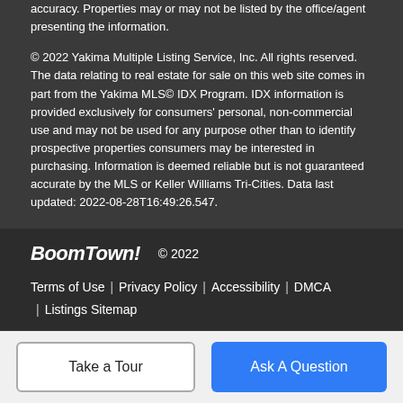accuracy. Properties may or may not be listed by the office/agent presenting the information.
© 2022 Yakima Multiple Listing Service, Inc. All rights reserved. The data relating to real estate for sale on this web site comes in part from the Yakima MLS© IDX Program. IDX information is provided exclusively for consumers' personal, non-commercial use and may not be used for any purpose other than to identify prospective properties consumers may be interested in purchasing. Information is deemed reliable but is not guaranteed accurate by the MLS or Keller Williams Tri-Cities. Data last updated: 2022-08-28T16:49:26.547.
BoomTown! © 2022 | Terms of Use | Privacy Policy | Accessibility | DMCA | Listings Sitemap
Take a Tour
Ask A Question